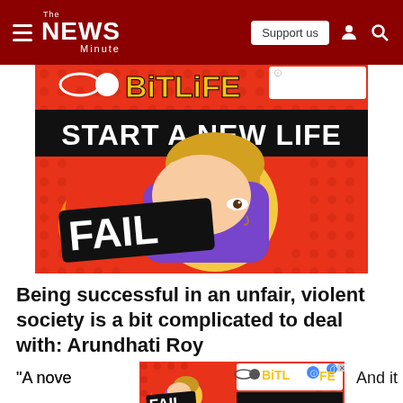The News Minute — Support us
[Figure (illustration): BitLife 'START A NEW LIFE' advertisement banner with cartoon blonde woman doing a facepalm, 'FAIL' text, red dotted background]
Being successful in an unfair, violent society is a bit complicated to deal with: Arundhati Roy
"A nove... And it
[Figure (illustration): BitLife 'START A NEW LIFE' advertisement banner (smaller, overlapping bottom text)]